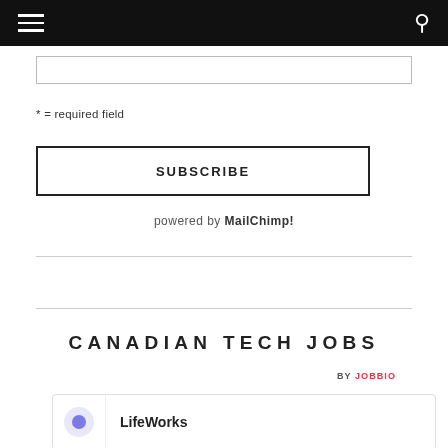* = required field
SUBSCRIBE
powered by MailChimp!
CANADIAN TECH JOBS
BY JOBBIO
LifeWorks